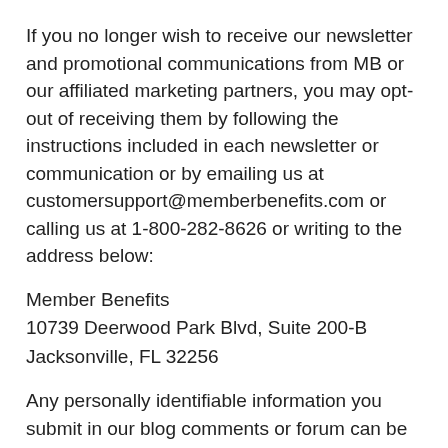If you no longer wish to receive our newsletter and promotional communications from MB or our affiliated marketing partners, you may opt-out of receiving them by following the instructions included in each newsletter or communication or by emailing us at customersupport@memberbenefits.com or calling us at 1-800-282-8626 or writing to the address below:
Member Benefits
10739 Deerwood Park Blvd, Suite 200-B
Jacksonville, FL 32256
Any personally identifiable information you submit in our blog comments or forum can be read, collected, or used by other users of these forums, and could be used to send you unsolicited messages. We are not responsible for the personally identifiable information you choose to submit in blog comments or f...